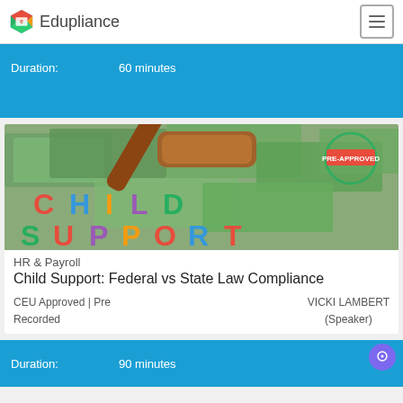Edupliance
Duration: 60 minutes
[Figure (photo): Course thumbnail image showing a judge's gavel on a pile of US dollar bills with colorful letters spelling out 'CHILD SUPPORT' and a 'PRE-APPROVED' stamp in the upper right corner]
HR & Payroll
Child Support: Federal vs State Law Compliance
CEU Approved | Pre Recorded
VICKI LAMBERT (Speaker)
Duration: 90 minutes